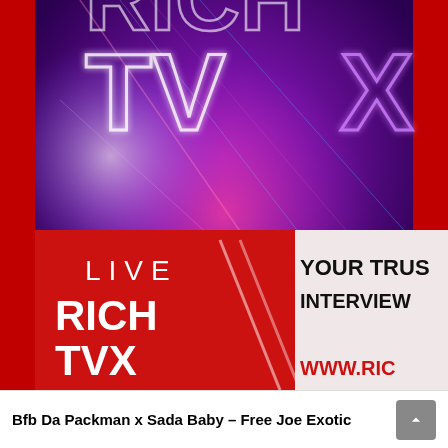[Figure (screenshot): A YouTube thumbnail/screenshot showing a TV broadcast graphic. Upper portion shows a neon/glowing 'TVX' logo on dark purple/magenta background with diagonal light streaks. Lower portion shows a red banner with 'LIVE' text on left and 'RICH TVX' logo below it. On the right side is a white/light panel showing partial text 'YOUR TRUS...' and 'INTERVIEW...' in bold black, and 'WWW.RIC...' in red at the bottom.]
Bfb Da Packman x Sada Baby – Free Joe Exotic